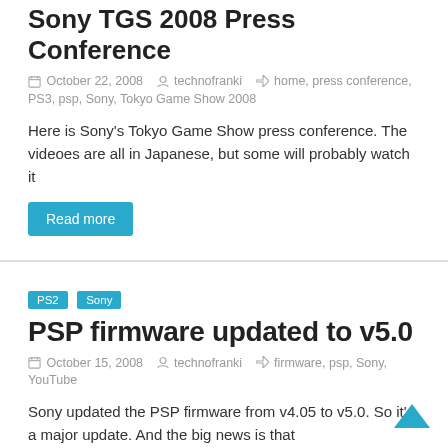Sony TGS 2008 Press Conference
October 22, 2008  technofranki  home, press conference, PS3, psp, Sony, Tokyo Game Show 2008
Here is Sony's Tokyo Game Show press conference. The videoes are all in Japanese, but some will probably watch it
Read more
PS2  Sony
PSP firmware updated to v5.0
October 15, 2008  technofranki  firmware, psp, Sony, YouTube
Sony updated the PSP firmware from v4.05 to v5.0. So it's a major update. And the big news is that